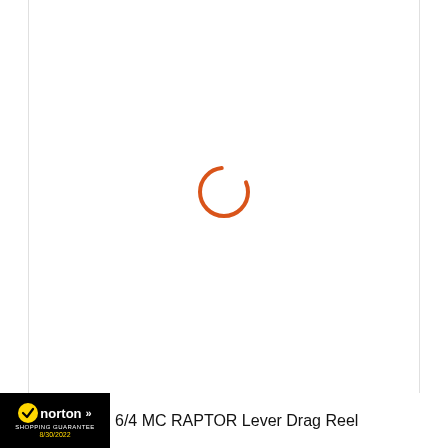[Figure (other): Loading spinner: an orange/red circular arc (partial circle) indicating a loading state, centered in the white content area of a webpage.]
[Figure (logo): Norton Shopping Guarantee badge: black background with yellow checkmark circle, 'norton' in white bold text, double chevron arrows, 'SHOPPING GUARANTEE' text, and date '8/30/2022' in yellow.]
6/4 MC RAPTOR Lever Drag Reel